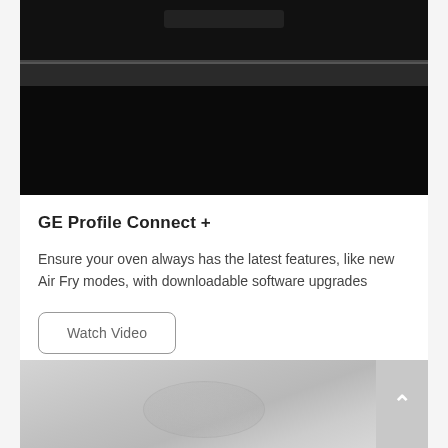[Figure (photo): Black GE Profile electric range/oven with glass cooktop and oven door visible, set against dark cabinetry background]
GE Profile Connect +
Ensure your oven always has the latest features, like new Air Fry modes, with downloadable software upgrades
Watch Video
[Figure (photo): Partial bottom image showing a light grey surface with a swirl or circular pattern, partially visible at bottom of page. A scroll-to-top button with an upward arrow is visible at bottom right.]